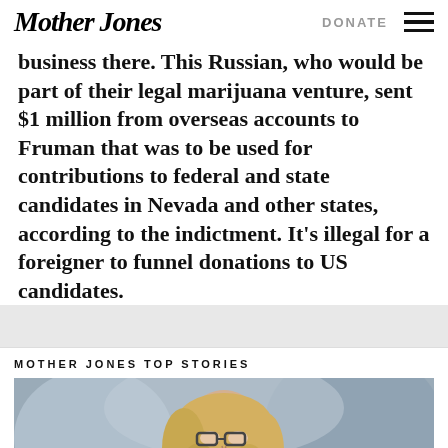Mother Jones | DONATE
business there. This Russian, who would be part of their legal marijuana venture, sent $1 million from overseas accounts to Fruman that was to be used for contributions to federal and state candidates in Nevada and other states, according to the indictment. It’s illegal for a foreigner to funnel donations to US candidates.
MOTHER JONES TOP STORIES
[Figure (photo): Photo of a woman with glasses and blonde hair speaking at a microphone, blurred background]